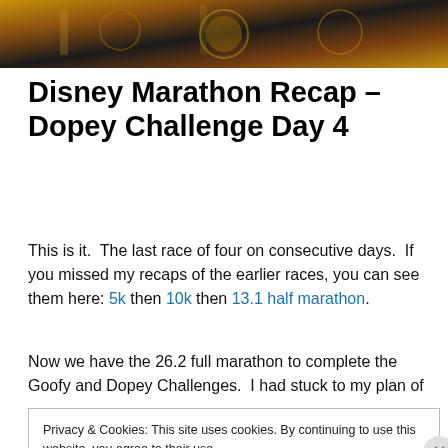[Figure (photo): Decorative hero image showing marathon medals with gold tones against a dark background]
Disney Marathon Recap – Dopey Challenge Day 4
This is it.  The last race of four on consecutive days.  If you missed my recaps of the earlier races, you can see them here: 5k then 10k then 13.1 half marathon.
Now we have the 26.2 full marathon to complete the Goofy and Dopey Challenges.  I had stuck to my plan of
Privacy & Cookies: This site uses cookies. By continuing to use this website, you agree to their use.
To find out more, including how to control cookies, see here: Cookie Policy